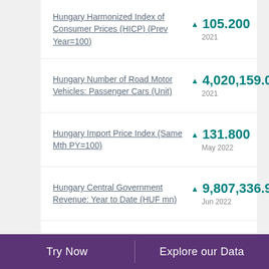Hungary Harmonized Index of Consumer Prices (HICP) (Prev Year=100)
Hungary Number of Road Motor Vehicles: Passenger Cars (Unit)
Hungary Import Price Index (Same Mth PY=100)
Hungary Central Government Revenue: Year to Date (HUF mn)
Try Now  Explore our Data